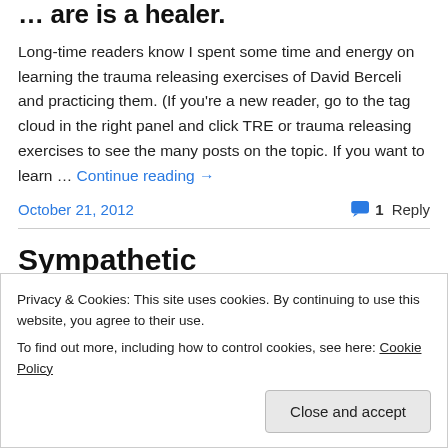… are is a healer.
Long-time readers know I spent some time and energy on learning the trauma releasing exercises of David Berceli and practicing them. (If you're a new reader, go to the tag cloud in the right panel and click TRE or trauma releasing exercises to see the many posts on the topic. If you want to learn … Continue reading →
October 21, 2012    1 Reply
Sympathetic
Privacy & Cookies: This site uses cookies. By continuing to use this website, you agree to their use.
To find out more, including how to control cookies, see here: Cookie Policy
Close and accept